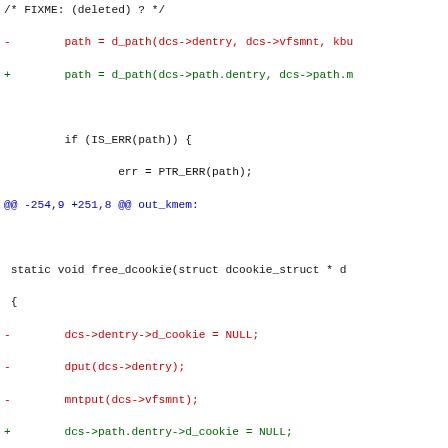[Figure (other): A unified diff (patch) showing code changes in a C source file. Lines in red are deletions (prefixed with -), lines in green are additions (prefixed with +), blue lines are diff headers. Context lines are dark/black. Shows changes to dcookie and path handling in Linux kernel code.]